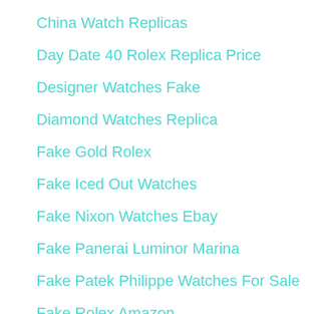China Watch Replicas
Day Date 40 Rolex Replica Price
Designer Watches Fake
Diamond Watches Replica
Fake Gold Rolex
Fake Iced Out Watches
Fake Nixon Watches Ebay
Fake Panerai Luminor Marina
Fake Patek Philippe Watches For Sale
Fake Rolex Amazon
Fake Rolex Link Bracelet Sale
Fake Rolex Quartz Japan Movt
Fake Rolex Reddit